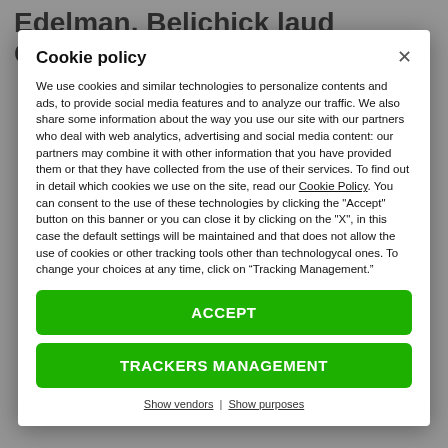Edelman, Belichick laud Gordon
Cookie policy
We use cookies and similar technologies to personalize contents and ads, to provide social media features and to analyze our traffic. We also share some information about the way you use our site with our partners who deal with web analytics, advertising and social media content: our partners may combine it with other information that you have provided them or that they have collected from the use of their services. To find out in detail which cookies we use on the site, read our Cookie Policy. You can consent to the use of these technologies by clicking the "Accept" button on this banner or you can close it by clicking on the "X", in this case the default settings will be maintained and that does not allow the use of cookies or other tracking tools other than technologycal ones. To change your choices at any time, click on “Tracking Management.”
ACCEPT
TRACKERS MANAGEMENT
Show vendors | Show purposes